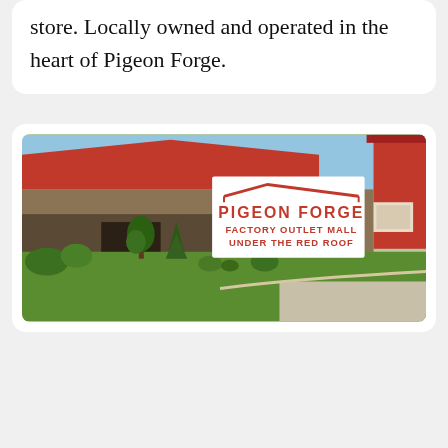store. Locally owned and operated in the heart of Pigeon Forge.
[Figure (photo): Exterior photo of Pigeon Forge Factory Outlet Mall Under the Red Roof. Shows a building with a red roof, green landscaping with shrubs and trees, parking area, and a white sign overlay reading 'PIGEON FORGE FACTORY OUTLET MALL UNDER THE RED ROOF' with a red roof logo line above the text.]